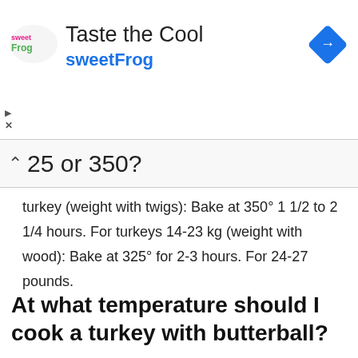[Figure (other): Advertisement banner for sweetFrog frozen yogurt with logo, tagline 'Taste the Cool', brand name 'sweetFrog' in blue, and a blue diamond navigation icon in the top right corner.]
25 or 350?
turkey (weight with twigs): Bake at 350° 1 1/2 to 2 1/4 hours. For turkeys 14-23 kg (weight with wood): Bake at 325° for 2-3 hours. For 24-27 pounds.
At what temperature should I cook a turkey with butterball?